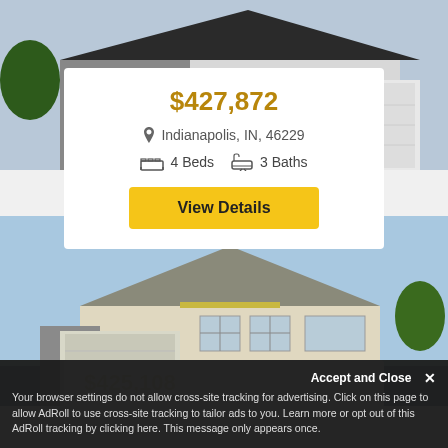[Figure (photo): Exterior photo of a modern two-car garage house with white and gray siding, dark roof]
$427,872
Indianapolis, IN, 46229
4 Beds   3 Baths
View Details
[Figure (photo): Exterior photo of a ranch-style house with light beige siding and blue sky background]
$425,000+ (partially visible)
Indianapolis, IN, 46229 (partially visible)
Accept and Close ✕
Your browser settings do not allow cross-site tracking for advertising. Click on this page to allow AdRoll to use cross-site tracking to tailor ads to you. Learn more or opt out of this AdRoll tracking by clicking here. This message only appears once.